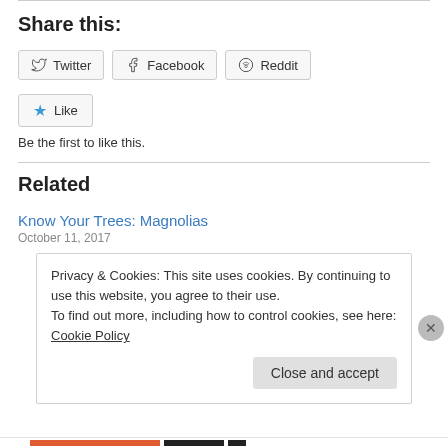Share this:
Twitter  Facebook  Reddit
★ Like
Be the first to like this.
Related
Know Your Trees: Magnolias
October 11, 2017
Privacy & Cookies: This site uses cookies. By continuing to use this website, you agree to their use.
To find out more, including how to control cookies, see here: Cookie Policy
Close and accept